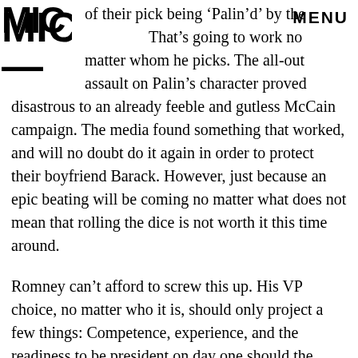[Figure (logo): MIC logo in bold black stylized letters top left corner]
MENU
of their pick being ‘Palin’d’ by the media. That’s going to work no matter whom he picks. The all-out assault on Palin’s character proved disastrous to an already feeble and gutless McCain campaign. The media found something that worked, and will no doubt do it again in order to protect their boyfriend Barack. However, just because an epic beating will be coming no matter what does not mean that rolling the dice is not worth it this time around.
Romney can’t afford to screw this up. His VP choice, no matter who it is, should only project a few things: Competence, experience, and the readiness to be president on day one should the worst happen. If the